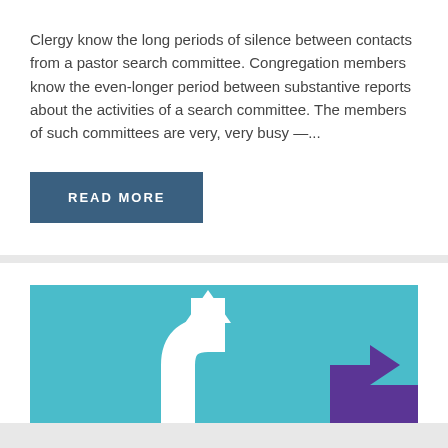Clergy know the long periods of silence between contacts from a pastor search committee. Congregation members know the even-longer period between substantive reports about the activities of a search committee. The members of such committees are very, very busy —...
READ MORE
[Figure (illustration): Teal/aqua background with a large white curved upward arrow on the left side, and a purple arrow shape in the lower right corner.]